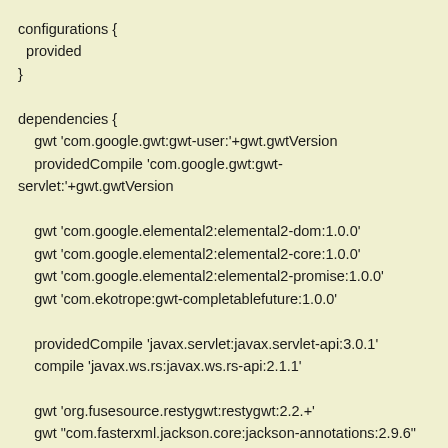configurations {
  provided
}

dependencies {
    gwt 'com.google.gwt:gwt-user:'+gwt.gwtVersion
    providedCompile 'com.google.gwt:gwt-servlet:'+gwt.gwtVersion

    gwt 'com.google.elemental2:elemental2-dom:1.0.0'
    gwt 'com.google.elemental2:elemental2-core:1.0.0'
    gwt 'com.google.elemental2:elemental2-promise:1.0.0'
    gwt 'com.ekotrope:gwt-completablefuture:1.0.0'

    providedCompile 'javax.servlet:javax.servlet-api:3.0.1'
    compile 'javax.ws.rs:javax.ws.rs-api:2.1.1'

    gwt 'org.fusesource.restygwt:restygwt:2.2.+'
    gwt "com.fasterxml.jackson.core:jackson-annotations:2.9.6"
    gwt "com.fasterxml.jackson.core:jackson-databind:2.9.6"